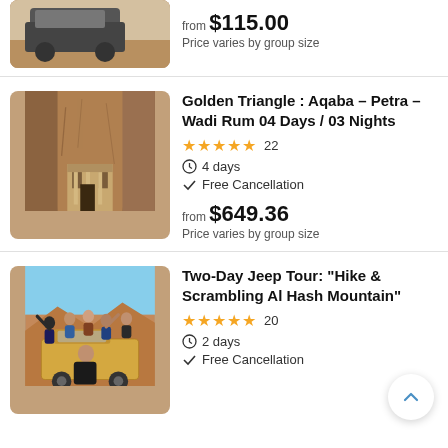[Figure (photo): Partial view of a 4x4 vehicle on a desert road, cropped at top]
from $115.00
Price varies by group size
[Figure (photo): View of Petra treasury through the siq canyon in Jordan]
Golden Triangle : Aqaba – Petra – Wadi Rum 04 Days / 03 Nights
★★★★★ 22
⏱ 4 days
✓ Free Cancellation
from $649.36
Price varies by group size
[Figure (photo): Group of tourists posing on and around a yellow jeep in a desert landscape]
Two-Day Jeep Tour: "Hike & Scrambling Al Hash Mountain"
★★★★★ 20
⏱ 2 days
✓ Free Cancellation